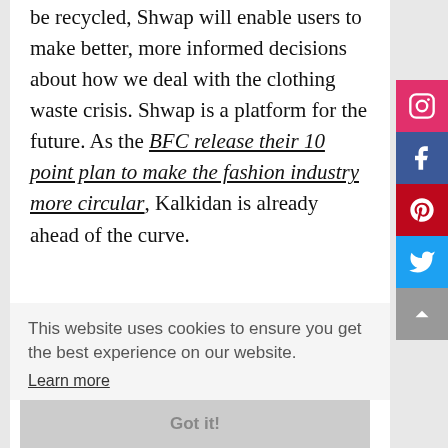be recycled, Shwap will enable users to make better, more informed decisions about how we deal with the clothing waste crisis. Shwap is a platform for the future. As the BFC release their 10 point plan to make the fashion industry more circular, Kalkidan is already ahead of the curve.
This website uses cookies to ensure you get the best experience on our website. Learn more
Got it!